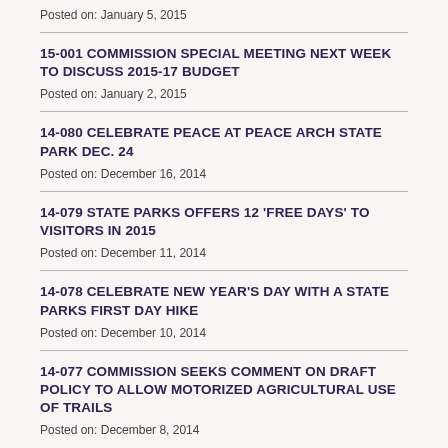Posted on: January 5, 2015
15-001 COMMISSION SPECIAL MEETING NEXT WEEK TO DISCUSS 2015-17 BUDGET
Posted on: January 2, 2015
14-080 CELEBRATE PEACE AT PEACE ARCH STATE PARK DEC. 24
Posted on: December 16, 2014
14-079 STATE PARKS OFFERS 12 'FREE DAYS' TO VISITORS IN 2015
Posted on: December 11, 2014
14-078 CELEBRATE NEW YEAR'S DAY WITH A STATE PARKS FIRST DAY HIKE
Posted on: December 10, 2014
14-077 COMMISSION SEEKS COMMENT ON DRAFT POLICY TO ALLOW MOTORIZED AGRICULTURAL USE OF TRAILS
Posted on: December 8, 2014